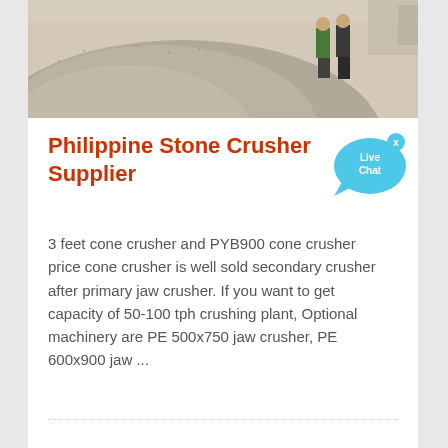[Figure (photo): Outdoor photo showing a large pile of crushed gravel/stone aggregate with two people standing to the right side against a light background]
Philippine Stone Crusher Supplier
[Figure (infographic): Live Chat bubble widget in blue with 'Live Chat' text and an X close button]
3 feet cone crusher and PYB900 cone crusher price cone crusher is well sold secondary crusher after primary jaw crusher. If you want to get capacity of 50-100 tph crushing plant, Optional machinery are PE 500x750 jaw crusher, PE 600x900 jaw ...